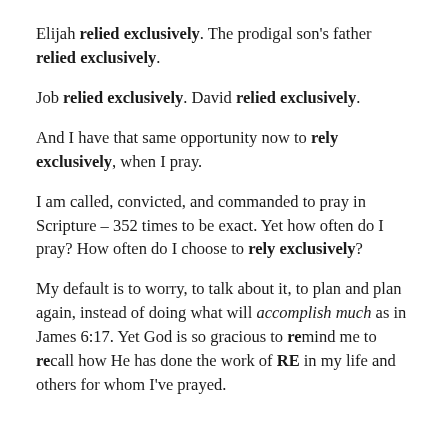Elijah relied exclusively. The prodigal son's father relied exclusively.
Job relied exclusively. David relied exclusively.
And I have that same opportunity now to rely exclusively, when I pray.
I am called, convicted, and commanded to pray in Scripture – 352 times to be exact. Yet how often do I pray? How often do I choose to rely exclusively?
My default is to worry, to talk about it, to plan and plan again, instead of doing what will accomplish much as in James 6:17. Yet God is so gracious to remind me to recall how He has done the work of RE in my life and others for whom I've prayed.